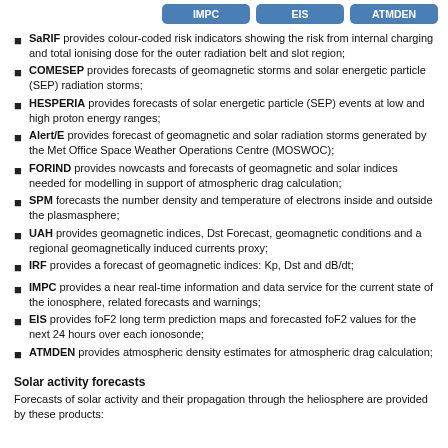| IMPC | EIS | ATMDEN |
| --- | --- | --- |
SaRIF provides colour-coded risk indicators showing the risk from internal charging and total ionising dose for the outer radiation belt and slot region;
COMESEP provides forecasts of geomagnetic storms and solar energetic particle (SEP) radiation storms;
HESPERIA provides forecasts of solar energetic particle (SEP) events at low and high proton energy ranges;
Alert/E provides forecast of geomagnetic and solar radiation storms generated by the Met Office Space Weather Operations Centre (MOSWOC);
FORIND provides nowcasts and forecasts of geomagnetic and solar indices needed for modelling in support of atmospheric drag calculation;
SPM forecasts the number density and temperature of electrons inside and outside the plasmasphere;
UAH provides geomagnetic indices, Dst Forecast, geomagnetic conditions and a regional geomagnetically induced currents proxy;
IRF provides a forecast of geomagnetic indices: Kp, Dst and dB/dt;
IMPC provides a near real-time information and data service for the current state of the ionosphere, related forecasts and warnings;
EIS provides foF2 long term prediction maps and forecasted foF2 values for the next 24 hours over each ionosonde;
ATMDEN provides atmospheric density estimates for atmospheric drag calculation;
Solar activity forecasts
Forecasts of solar activity and their propagation through the heliosphere are provided by these products: